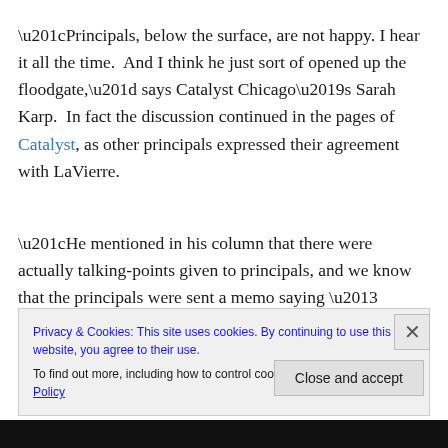“Principals, below the surface, are not happy. I hear it all the time.  And I think he just sort of opened up the floodgate,” says Catalyst Chicago’s Sarah Karp.  In fact the discussion continued in the pages of Catalyst, as other principals expressed their agreement with LaVierre.
“He mentioned in his column that there were actually talking-points given to principals, and we know that the principals were sent a memo saying – don’t talk to the press, don’t even send out a letter to your children’s parents without getting it approved any Communications
Privacy & Cookies: This site uses cookies. By continuing to use this website, you agree to their use.
To find out more, including how to control cookies, see here: Cookie Policy